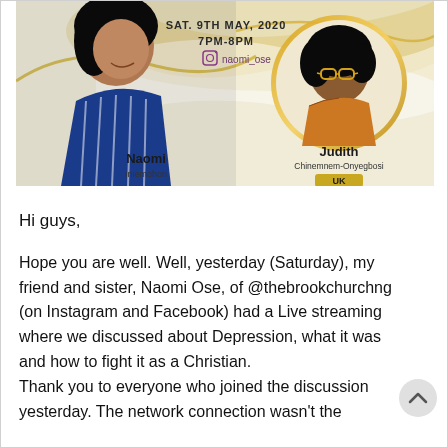[Figure (infographic): Promotional banner for a live stream event. Shows two women: Naomi Iniemohon on the left (in blue striped outfit) and Judith Chinemnem-Onyegbosi UK on the right (in a circular gold-framed portrait). Text reads: SAT. 9TH MAY, 2020, 7PM-8PM, @naomi_ose. Gold and white decorative background.]
Hi guys,
Hope you are well. Well, yesterday (Saturday), my friend and sister, Naomi Ose, of @thebrookchurchng (on Instagram and Facebook) had a Live streaming where we discussed about Depression, what it was and how to fight it as a Christian. Thank you to everyone who joined the discussion yesterday. The network connection wasn't the